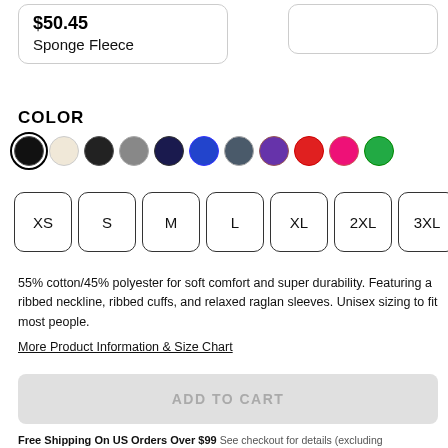$50.45
Sponge Fleece
COLOR
[Figure (other): Color swatches: black (selected), cream, charcoal, gray, navy, royal blue, slate, purple, red, hot pink, green]
[Figure (other): Size buttons: XS, S, M, L, XL, 2XL, 3XL]
55% cotton/45% polyester for soft comfort and super durability. Featuring a ribbed neckline, ribbed cuffs, and relaxed raglan sleeves. Unisex sizing to fit most people.
More Product Information & Size Chart
ADD TO CART
Free Shipping On US Orders Over $99 See checkout for details (excluding